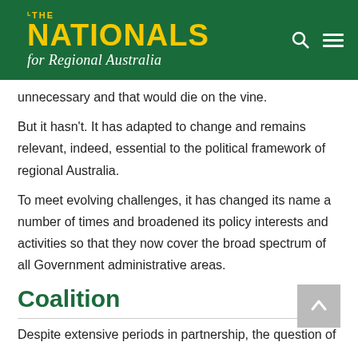[Figure (logo): The Nationals for Regional Australia logo — white and yellow text on dark green background with search and menu icons]
unnecessary and that would die on the vine.
But it hasn't. It has adapted to change and remains relevant, indeed, essential to the political framework of regional Australia.
To meet evolving challenges, it has changed its name a number of times and broadened its policy interests and activities so that they now cover the broad spectrum of all Government administrative areas.
Coalition
Despite extensive periods in partnership, the question of